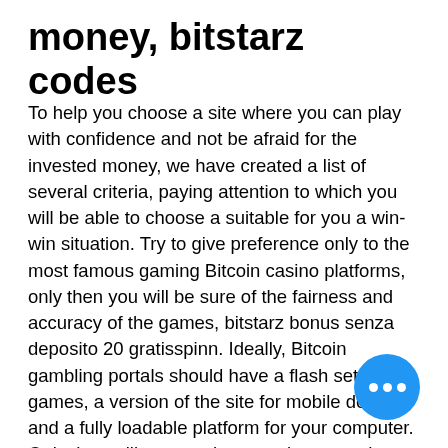money, bitstarz codes
To help you choose a site where you can play with confidence and not be afraid for the invested money, we have created a list of several criteria, paying attention to which you will be able to choose a suitable for you a win-win situation. Try to give preference only to the most famous gaming Bitcoin casino platforms, only then you will be sure of the fairness and accuracy of the games, bitstarz bonus senza deposito 20 gratisspinn. Ideally, Bitcoin gambling portals should have a flash set of games, a version of the site for mobile devices and a fully loadable platform for your computer. Only then will you see how much money the gambling house owners have invested, and they will treat their clients with care. Online since: 2020 License: Curacao Min deposit: '10 Min withdraw: '20 Welcome Bonus Information, bitstarz bonus senza deposito 20 gratisspinn. Por medio de sus